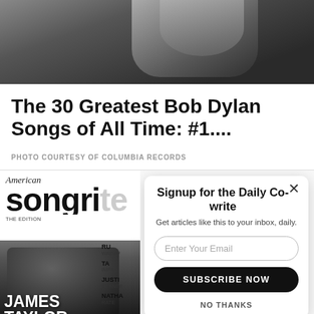[Figure (photo): Black and white photo showing close-up of a person in a jacket, used as article header image]
The 30 Greatest Bob Dylan Songs of All Time: #1....
PHOTO COURTESY OF COLUMBIA RECORDS
[Figure (photo): American Songwriter magazine cover featuring James Taylor, with partial text 'songwriter', sidebar credits for RU WAINW, TAM IMPA, JUSTI TRANTER, NATHAN RATEL]
Signup for the Daily Co-write
Get articles like this to your inbox, daily.

Enter Your Email

SUBSCRIBE NOW

NO THANKS